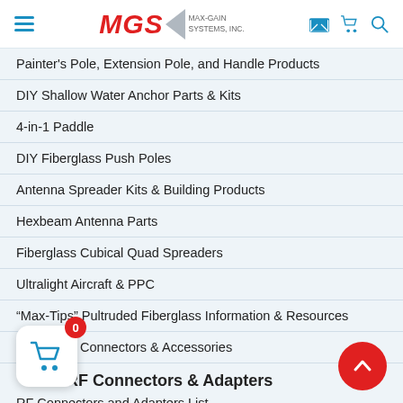MGS MAX-GAIN SYSTEMS, INC.
Painter's Pole, Extension Pole, and Handle Products
DIY Shallow Water Anchor Parts & Kits
4-in-1 Paddle
DIY Fiberglass Push Poles
Antenna Spreader Kits & Building Products
Hexbeam Antenna Parts
Fiberglass Cubical Quad Spreaders
Ultralight Aircraft & PPC
“Max-Tips” Pultruded Fiberglass Information & Resources
Fiberglass Connectors & Accessories
RF Connectors & Adapters
RF Connectors and Adapters List
[Figure (illustration): Shopping cart widget with red badge showing 0 items, and red scroll-to-top button with upward arrow]